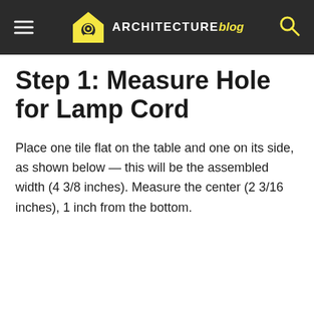ARCHITECTURE blog
Step 1: Measure Hole for Lamp Cord
Place one tile flat on the table and one on its side, as shown below — this will be the assembled width (4 3/8 inches). Measure the center (2 3/16 inches), 1 inch from the bottom.